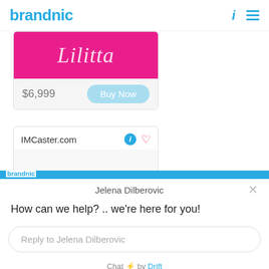brandnic
[Figure (screenshot): Partially visible product listing card with pink/magenta background showing a cursive logo, price $6,999 and Buy Now button]
[Figure (screenshot): Product listing card for IMCaster.com with info icon, heart icon, logo background and orange button]
Jelena Dilberovic
How can we help? .. we're here for you!
Reply to Jelena Dilberovic
Chat ⚡ by Drift